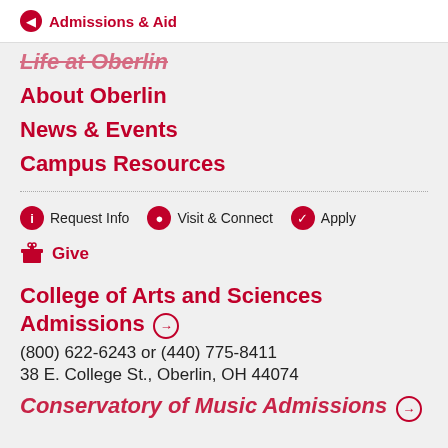Admissions & Aid
Life at Oberlin
About Oberlin
News & Events
Campus Resources
Request Info
Visit & Connect
Apply
Give
College of Arts and Sciences Admissions
(800) 622-6243 or (440) 775-8411
38 E. College St., Oberlin, OH 44074
Conservatory of Music Admissions